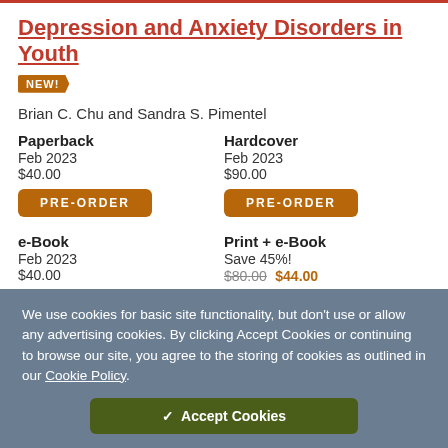Depression and Anxiety Disorders in Youth
NEW!
Brian C. Chu and Sandra S. Pimentel
Paperback
Feb 2023
$40.00
Hardcover
Feb 2023
$90.00
PRE-ORDER
PRE-ORDER
e-Book
Feb 2023
$40.00
Print + e-Book
Save 45%!
$80.00 $44.00
PRE-ORDER
PRE-ORDER
We use cookies for basic site functionality, but don’t use or allow any advertising cookies. By clicking Accept Cookies or continuing to browse our site, you agree to the storing of cookies as outlined in our Cookie Policy.
✓ Accept Cookies